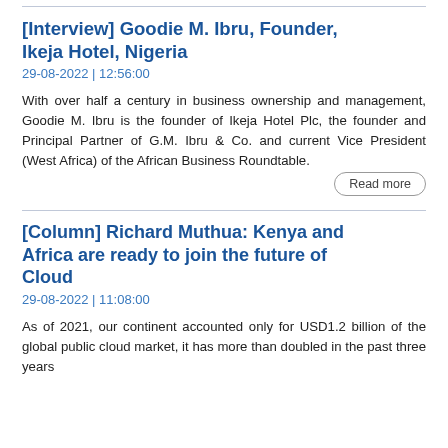[Interview] Goodie M. Ibru, Founder, Ikeja Hotel, Nigeria
29-08-2022 | 12:56:00
With over half a century in business ownership and management, Goodie M. Ibru is the founder of Ikeja Hotel Plc, the founder and Principal Partner of G.M. Ibru & Co. and current Vice President (West Africa) of the African Business Roundtable.
Read more
[Column] Richard Muthua: Kenya and Africa are ready to join the future of Cloud
29-08-2022 | 11:08:00
As of 2021, our continent accounted only for USD1.2 billion of the global public cloud market, it has more than doubled in the past three years